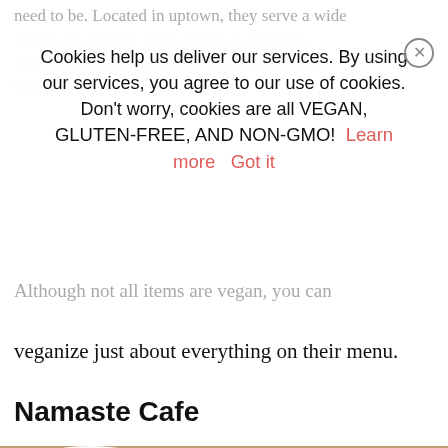need to be. Located in uptown, they serve a wide variety of choices. From pastas to salads to sustainable bowls and more. They also have the best tempeh reuben I've ever had.
Cookies help us deliver our services. By using our services, you agree to our use of cookies. Don't worry, cookies are all VEGAN, GLUTEN-FREE, AND NON-GMO! Learn more   Got it
Although not all items are vegan, you can veganize just about everything on their menu.
Namaste Cafe
[Figure (photo): Overhead photo of Asian food dishes on white plates on a wooden table, including sauces in small bowls and a stir-fry dish with vegetables]